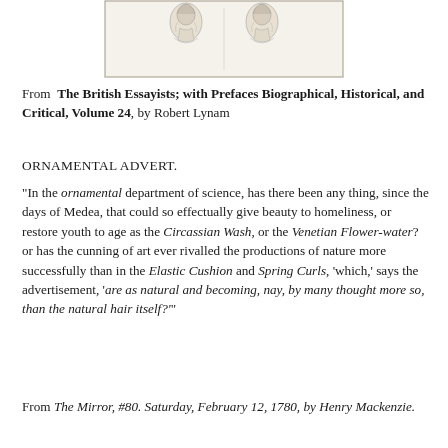[Figure (illustration): Engraving/sketch of two figures (historical portrait style) side by side within a rectangular border]
From The British Essayists; with Prefaces Biographical, Historical, and Critical, Volume 24, by Robert Lynam
ORNAMENTAL ADVERT.
"In the ornamental department of science, has there been any thing, since the days of Medea, that could so effectually give beauty to homeliness, or restore youth to age as the Circassian Wash, or the Venetian Flower-water? or has the cunning of art ever rivalled the productions of nature more successfully than in the Elastic Cushion and Spring Curls, 'which,' says the advertisement, 'are as natural and becoming, nay, by many thought more so, than the natural hair itself?'"
From The Mirror, #80. Saturday, February 12, 1780, by Henry Mackenzie.